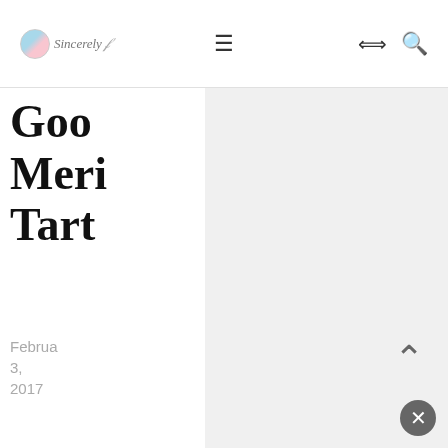Sincerely Fr [logo] — navigation bar with hamburger menu, share icon, search icon
Goo
Meri
Tart
February 3, 2017
[Figure (photo): Small thumbnail image of a food item, golden/brown colored]
Tahin
Cash
Nutte
Butte
Sand
Cook